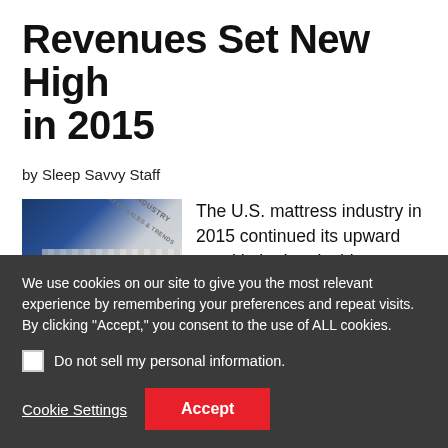Revenues Set New High in 2015
by Sleep Savvy Staff
[Figure (photo): Cover of the 2015 Mattress Industry Report of Sales & Trends showing a close-up of a mattress and the report cover with blue and light coloring.]
The U.S. mattress industry in 2015 continued its upward trend in both unit shipments and wholesale dollar values, according to the 2015 Mattress...
We use cookies on our site to give you the most relevant experience by remembering your preferences and repeat visits. By clicking "Accept," you consent to the use of ALL cookies.
Do not sell my personal information.
Cookie Settings
Accept